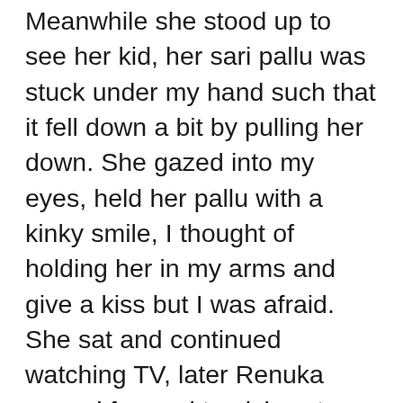Meanwhile she stood up to see her kid, her sari pallu was stuck under my hand such that it fell down a bit by pulling her down. She gazed into my eyes, held her pallu with a kinky smile, I thought of holding her in my arms and give a kiss but I was afraid. She sat and continued watching TV, later Renuka moved forward to pick water from table and her sari pallu slipped off from her shoulder and didn't put effort to adjust her pallu back to its position. Not sure if it was intentional from her or she never noticed it. But, It was a feast for me to see such a beautiful cleavage, & was uncontrollable to me. I pushed her hand by my elbow in pretext to pick the remote, such that the water fell on her things and chest...I said sorry aunty and started rubbing with my hands and picked up